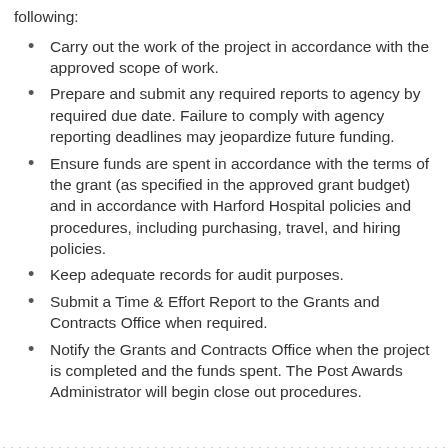following:
Carry out the work of the project in accordance with the approved scope of work.
Prepare and submit any required reports to agency by required due date. Failure to comply with agency reporting deadlines may jeopardize future funding.
Ensure funds are spent in accordance with the terms of the grant (as specified in the approved grant budget) and in accordance with Harford Hospital policies and procedures, including purchasing, travel, and hiring policies.
Keep adequate records for audit purposes.
Submit a Time & Effort Report to the Grants and Contracts Office when required.
Notify the Grants and Contracts Office when the project is completed and the funds spent. The Post Awards Administrator will begin close out procedures.